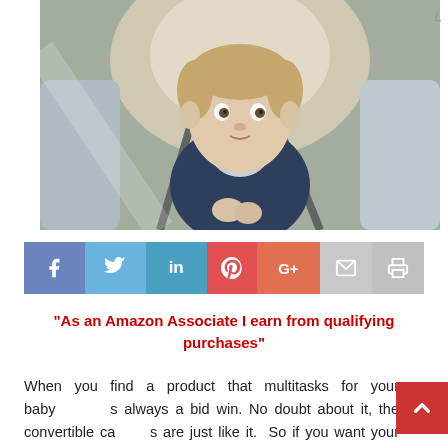[Figure (photo): A young toddler boy dressed in a navy jacket and light shirt seated in a beige convertible car seat, looking at the camera. The background shows car interior.]
[Figure (infographic): Social sharing bar with buttons for Facebook (f), Twitter (bird), LinkedIn (in), Pinterest (P), Google+ (G+), Email (envelope), and Print (printer icon).]
“As an Amazon Associate I earn from qualifying purchases”
When you find a product that multitasks for your baby s always a bid win. No doubt about it, the convertible ca s are just like it. So if you want your baby to do multitask while